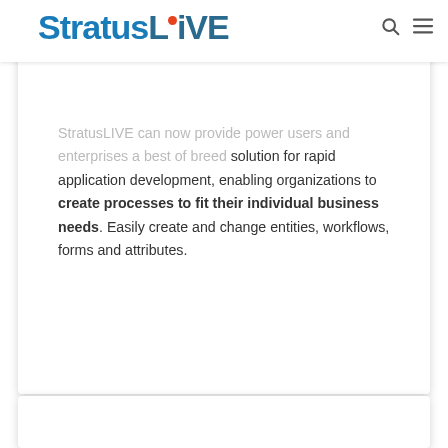StratusLIVE
Customization
StratusLIVE can now provide power users and enterprises a best of breed solution for rapid application development, enabling organizations to create processes to fit their individual business needs. Easily create and change entities, workflows, forms and attributes.